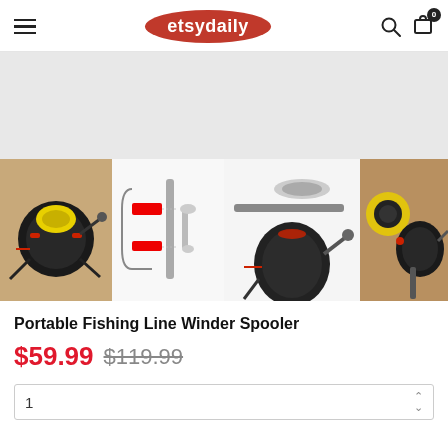etsydaily
[Figure (photo): Main product image area (gray placeholder) for Portable Fishing Line Winder Spooler]
[Figure (photo): Four thumbnail images of the Portable Fishing Line Winder Spooler: product photo, schematic/exploded view, assembled view, and in-use photo]
Portable Fishing Line Winder Spooler
$59.99 $119.99
| 1 |